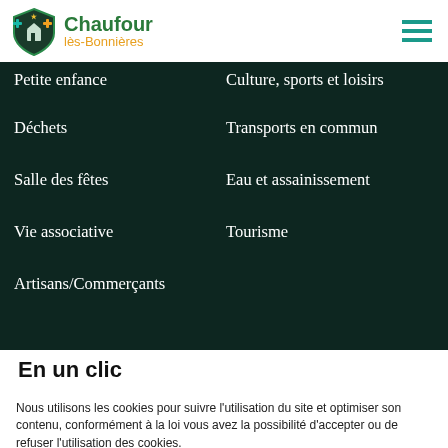Chaufour lès-Bonnières
Petite enfance
Culture, sports et loisirs
Déchets
Transports en commun
Salle des fêtes
Eau et assainissement
Vie associative
Tourisme
Artisans/Commerçants
En un clic
Nous utilisons les cookies pour suivre l'utilisation du site et optimiser son contenu, conformément à la loi vous avez la possibilité d'accepter ou de refuser l'utilisation des cookies.